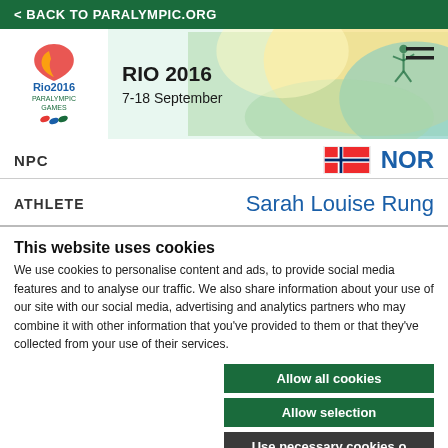< BACK TO PARALYMPIC.ORG
[Figure (screenshot): Rio 2016 Paralympic Games banner with logo, dates 7-18 September, colorful background with athlete silhouette]
NPC   NOR
ATHLETE   Sarah Louise Rung
This website uses cookies
We use cookies to personalise content and ads, to provide social media features and to analyse our traffic. We also share information about your use of our site with our social media, advertising and analytics partners who may combine it with other information that you've provided to them or that they've collected from your use of their services.
Allow all cookies
Allow selection
Use necessary cookies o
essary   Preferences   Statistics   Show details
Marketing
ATHLETE   Sarah Yo...